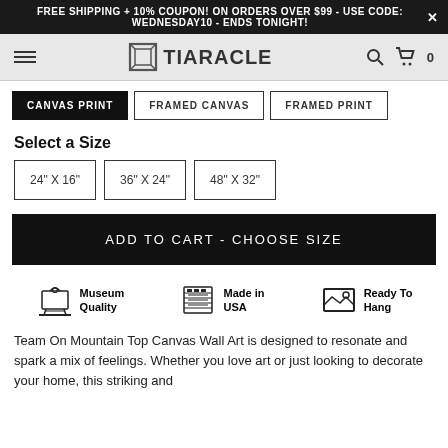FREE SHIPPING + 10% COUPON! ON ORDERS OVER $99 - USE CODE: WEDNESDAY10 - ENDS TONIGHT!
[Figure (logo): Tiaracle logo with hamburger menu, search icon, and cart icon in navbar]
CANVAS PRINT
FRAMED CANVAS
FRAMED PRINT
Select a Size
24" X 16"
36" X 24"
48" X 32"
ADD TO CART - CHOOSE SIZE
[Figure (infographic): Three quality badges: Museum Quality, Made in USA, Ready To Hang]
Team On Mountain Top Canvas Wall Art is designed to resonate and spark a mix of feelings. Whether you love art or just looking to decorate your home, this striking and